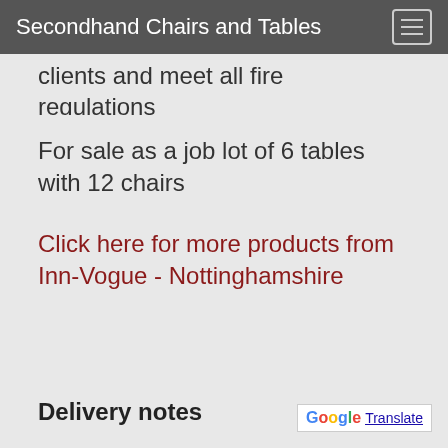Secondhand Chairs and Tables
…clients and meet all fire regulations
For sale as a job lot of 6 tables with 12 chairs
Click here for more products from Inn-Vogue - Nottinghamshire
Delivery notes